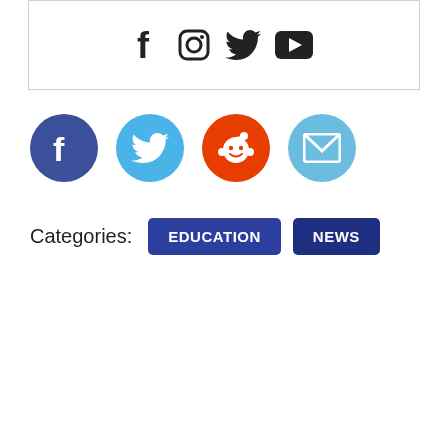[Figure (infographic): White box with social media icons: Facebook (f), Instagram (camera), Twitter (bird), YouTube (play button) arranged horizontally in dark gray]
[Figure (infographic): Four colored circular social sharing buttons: Facebook (dark blue), Twitter (light blue), Reddit (red-orange), Email (light blue), each with white icon]
Categories: EDUCATION NEWS